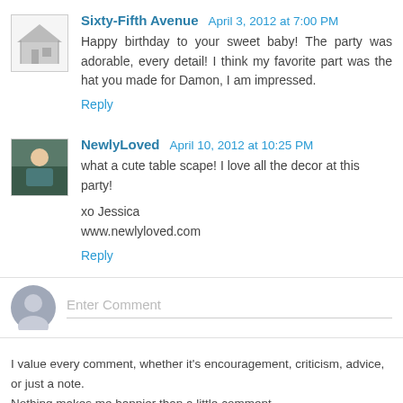Sixty-Fifth Avenue  April 3, 2012 at 7:00 PM
Happy birthday to your sweet baby! The party was adorable, every detail! I think my favorite part was the hat you made for Damon, I am impressed.
Reply
NewlyLoved  April 10, 2012 at 10:25 PM
what a cute table scape! I love all the decor at this party!

xo Jessica
www.newlyloved.com
Reply
Enter Comment
I value every comment, whether it's encouragement, criticism, advice, or just a note. Nothing makes me happier than a little comment.